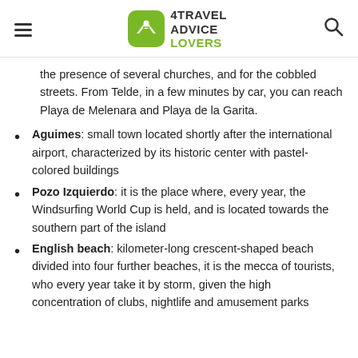4TRAVEL ADVICE LOVERS
the presence of several churches, and for the cobbled streets. From Telde, in a few minutes by car, you can reach Playa de Melenara and Playa de la Garita.
Aguimes: small town located shortly after the international airport, characterized by its historic center with pastel-colored buildings
Pozo Izquierdo: it is the place where, every year, the Windsurfing World Cup is held, and is located towards the southern part of the island
English beach: kilometer-long crescent-shaped beach divided into four further beaches, it is the mecca of tourists, who every year take it by storm, given the high concentration of clubs, nightlife and amusement parks